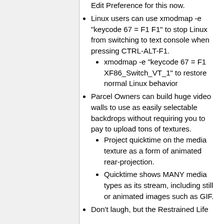Edit Preference for this now.
Linux users can use xmodmap -e "keycode 67 = F1 F1" to stop Linux from switching to text console when pressing CTRL-ALT-F1.
xmodmap -e "keycode 67 = F1 XF86_Switch_VT_1" to restore normal Linux behavior
Parcel Owners can build huge video walls to use as easily selectable backdrops without requiring you to pay to upload tons of textures.
Project quicktime on the media texture as a form of animated rear-projection.
Quicktime shows MANY media types as its stream, including still or animated images such as GIF.
Don't laugh, but the Restrained Life